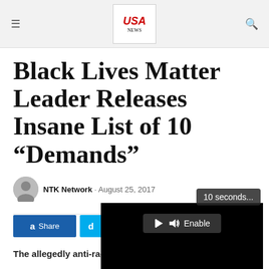USA [logo] — hamburger menu and search icons
Black Lives Matter Leader Releases Insane List of 10 “Demands”
NTK Network · August 25, 2017
[Figure (screenshot): Video player overlay showing Enable audio button, 10 seconds countdown tooltip, and Loading progress indicator]
a Share   d
The allegedly anti-racist group has released a